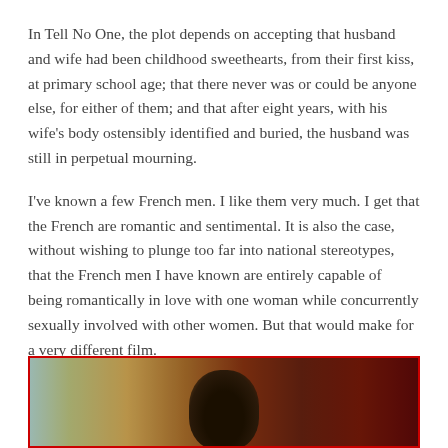In Tell No One, the plot depends on accepting that husband and wife had been childhood sweethearts, from their first kiss, at primary school age; that there never was or could be anyone else, for either of them; and that after eight years, with his wife's body ostensibly identified and buried, the husband was still in perpetual mourning.
I've known a few French men. I like them very much. I get that the French are romantic and sentimental. It is also the case, without wishing to plunge too far into national stereotypes, that the French men I have known are entirely capable of being romantically in love with one woman while concurrently sexually involved with other women. But that would make for a very different film.
[Figure (photo): Blurred photo of a person with dark curly hair, partially visible, against a warm blurred orange-brown background. The image has a red border.]